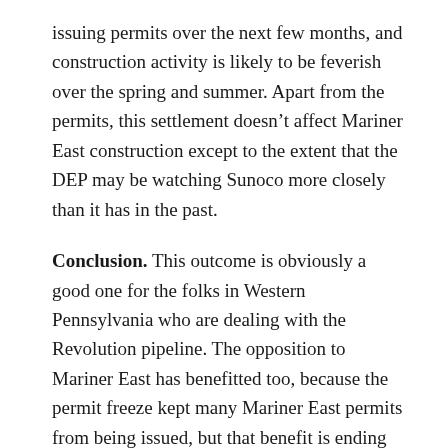issuing permits over the next few months, and construction activity is likely to be feverish over the spring and summer. Apart from the permits, this settlement doesn't affect Mariner East construction except to the extent that the DEP may be watching Sunoco more closely than it has in the past.
Conclusion. This outcome is obviously a good one for the folks in Western Pennsylvania who are dealing with the Revolution pipeline. The opposition to Mariner East has benefitted too, because the permit freeze kept many Mariner East permits from being issued, but that benefit is ending now. Mariner East opponents will now need to focus on other ways to make their case.